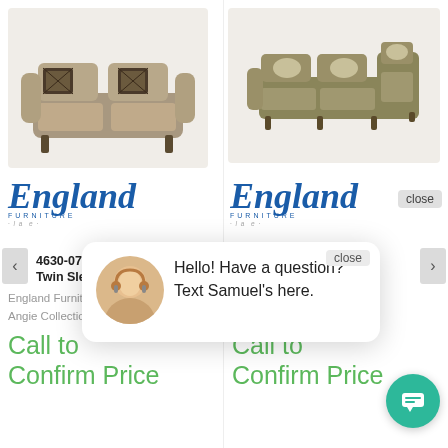[Figure (photo): Loveseat sofa with patterned throw pillows, taupe/tan upholstery, rolled arms]
[Figure (logo): England Furniture cursive logo in blue, left product]
4630-07 An[gie]
Twin Sleeper
England Furniture
Angie Collection
Call to
Confirm Price
[Figure (photo): L-shaped sectional sofa, taupe/olive upholstery with decorative pillows]
[Figure (logo): England Furniture cursive logo in blue, right product]
...Meet Angie
Angie Sectional
England Furniture
Angie Collection
Call to
Confirm Price
Hello! Have a question? Text Samuel's here.
[Figure (illustration): Green circle chat button with message icon]